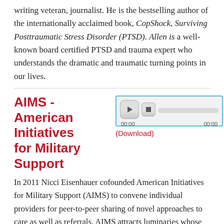writing veteran, journalist. He is the bestselling author of the internationally acclaimed book, CopShock, Surviving Posttraumatic Stress Disorder (PTSD). Allen is a well-known board certified PTSD and trauma expert who understands the dramatic and traumatic turning points in our lives.
AIMS - American Initiatives for Military Support
[Figure (other): Audio player widget with play and stop buttons, progress bar, and time counters showing 00:00 on both sides]
(Download)
In 2011 Nicci Eisenhauer cofounded American Initiatives for Military Support (AIMS) to convene individual providers for peer-to-peer sharing of novel approaches to care as well as referrals. AIMS attracts luminaries whose innovations often elude